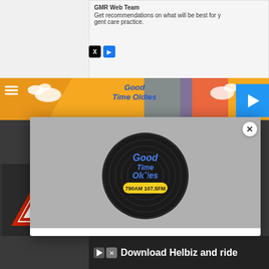[Figure (screenshot): Background of a website with a colorful banner showing 'Good Time Oldies' radio station branding]
[Figure (logo): Good Time Oldies 790AM 107.5FM circular logo with vinyl record design]
DOWNLOAD THE GOOD TIME OLDIES 107.5 MOBILE APP
GET OUR FREE MOBILE APP
Download Helbiz and ride